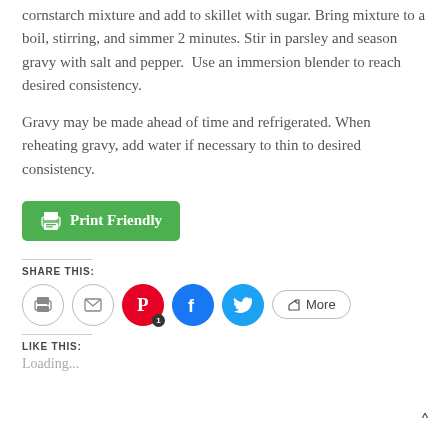cornstarch mixture and add to skillet with sugar. Bring mixture to a boil, stirring, and simmer 2 minutes. Stir in parsley and season gravy with salt and pepper.  Use an immersion blender to reach desired consistency.

Gravy may be made ahead of time and refrigerated. When reheating gravy, add water if necessary to thin to desired consistency.
[Figure (other): Green 'Print Friendly' button with printer icon]
Share this:
[Figure (other): Social sharing icons: print, email, Pinterest (1), Facebook, Twitter, More]
Like this:
Loading...